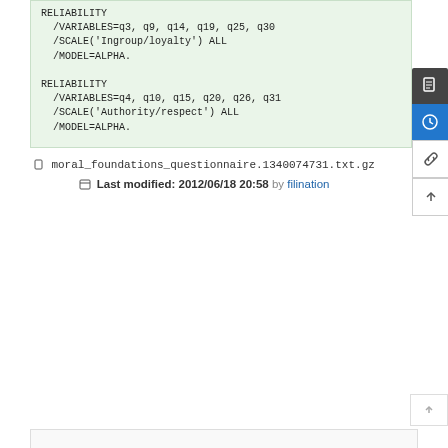RELIABILITY
  /VARIABLES=q3, q9, q14, q19, q25, q30
  /SCALE('Ingroup/loyalty') ALL
  /MODEL=ALPHA.

RELIABILITY
  /VARIABLES=q4, q10, q15, q20, q26, q31
  /SCALE('Authority/respect') ALL
  /MODEL=ALPHA.

RELIABILITY
  /VARIABLES=q5, q11, q16, q21, q27, q32
  /SCALE('Purity/sanctity') ALL
  /MODEL=ALPHA.

</code>
moral_foundations_questionnaire.1340074731.txt.gz
Last modified: 2012/06/18 20:58 by filination